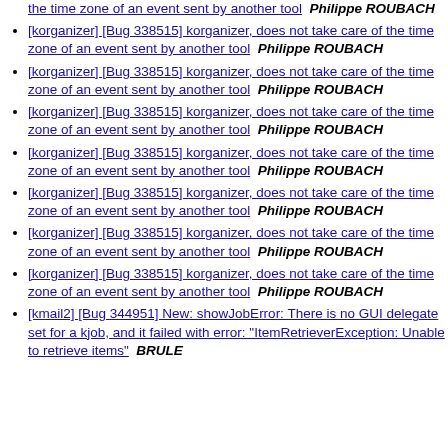[korganizer] [Bug 338515] korganizer, does not take care of the time zone of an event sent by another tool   Philippe ROUBACH
[korganizer] [Bug 338515] korganizer, does not take care of the time zone of an event sent by another tool   Philippe ROUBACH
[korganizer] [Bug 338515] korganizer, does not take care of the time zone of an event sent by another tool   Philippe ROUBACH
[korganizer] [Bug 338515] korganizer, does not take care of the time zone of an event sent by another tool   Philippe ROUBACH
[korganizer] [Bug 338515] korganizer, does not take care of the time zone of an event sent by another tool   Philippe ROUBACH
[korganizer] [Bug 338515] korganizer, does not take care of the time zone of an event sent by another tool   Philippe ROUBACH
[korganizer] [Bug 338515] korganizer, does not take care of the time zone of an event sent by another tool   Philippe ROUBACH
[korganizer] [Bug 338515] korganizer, does not take care of the time zone of an event sent by another tool   Philippe ROUBACH
[kmail2] [Bug 344951] New: showJobError: There is no GUI delegate set for a kjob, and it failed with error: "ItemRetrieverException: Unable to retrieve items"   BRULE